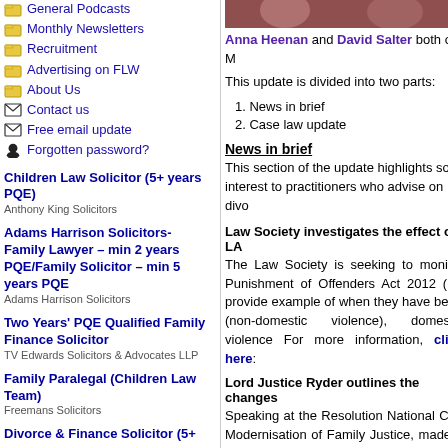General Podcasts
Monthly Newsletters
Recruitment
Advertising on FLW
About Us
Contact us
Free email update
Forgotten password?
Children Law Solicitor (5+ years PQE)
Anthony King Solicitors
Adams Harrison Solicitors- Family Lawyer – min 2 years PQE/Family Solicitor – min 5 years PQE
Adams Harrison Solicitors
Two Years' PQE Qualified Family Finance Solicitor
TV Edwards Solicitors & Advocates LLP
Family Paralegal (Children Law Team)
Freemans Solicitors
Divorce & Finance Solicitor (5+
[Figure (photo): Portrait photo strip of two people]
Anna Heenan and David Salter both of M
This update is divided into two parts:
1. News in brief
2. Case law update
News in brief
This section of the update highlights som interest to practitioners who advise on divo
Law Society investigates the effect of LA
The Law Society is seeking to monitor Punishment of Offenders Act 2012 (LA provide example of when they have been (non-domestic violence), domestic violence For more information, click here:
Lord Justice Ryder outlines the changes
Speaking at the Resolution National Con Modernisation of Family Justice, made a which will result in a "revolutionary chang For the full story, click here: